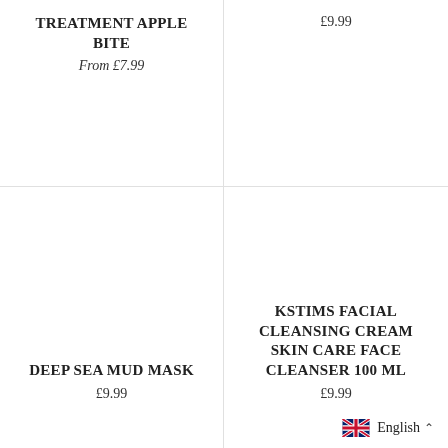TREATMENT APPLE BITE
From £7.99
£9.99
DEEP SEA MUD MASK
£9.99
KSTIMS FACIAL CLEANSING CREAM SKIN CARE FACE CLEANSER 100 ML
£9.99
English